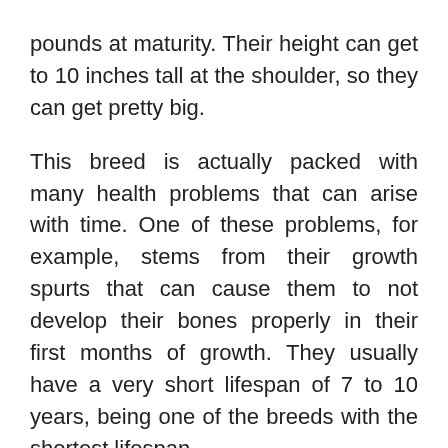pounds at maturity. Their height can get to 10 inches tall at the shoulder, so they can get pretty big.
This breed is actually packed with many health problems that can arise with time. One of these problems, for example, stems from their growth spurts that can cause them to not develop their bones properly in their first months of growth. They usually have a very short lifespan of 7 to 10 years, being one of the breeds with the shortest lifespan.
With that in mind, and knowing that Great Danes don't eat as much food as you'd expect you should take into consideration